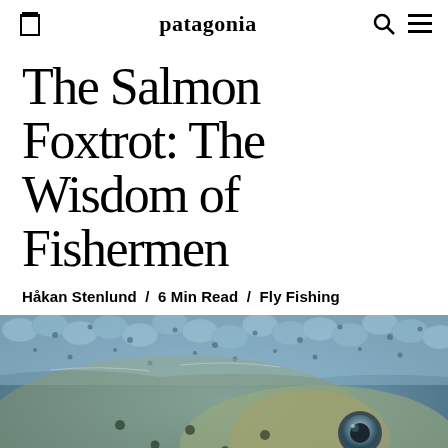patagonia
The Salmon Foxtrot: The Wisdom of Fishermen
Håkan Stenlund  /  6 Min Read  /  Fly Fishing
[Figure (photo): Close-up macro photograph of a salmon's head and scales underwater, showing detailed scale texture, spots, and the fish's eye]